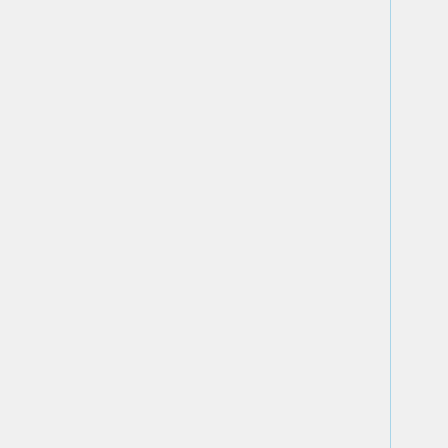| Week | Person | Number | Title |
| --- | --- | --- | --- |
|  | Ildar Nasirov |  | Crowdso… Classific… |
| Week of Nov 16 |  | 5 |  |
| Week of Nov 16 |  | 6 |  |
| Week of Nov 16 |  | 7 |  |
| Week of Nov 16 |  | 8 |  |
| Week of Nov 16 |  | 9 |  |
| Week of Nov 16 |  | 10 |  |
|  | Jinjiang Lian, Jiawen |  | DROCC… |